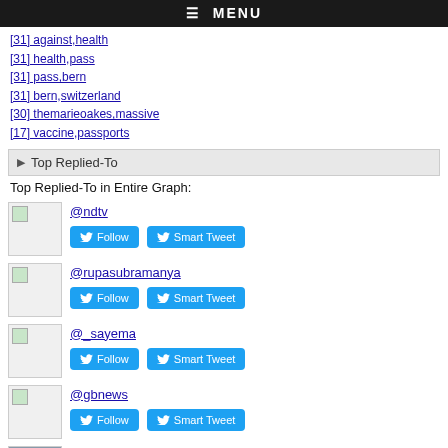≡ MENU
[31] against,health
[31] health,pass
[31] pass,bern
[31] bern,switzerland
[30] themarieoakes,massive
[17] vaccine,passports
▶ Top Replied-To
Top Replied-To in Entire Graph:
@ndtv [Follow] [Smart Tweet]
@rupasubramanya [Follow] [Smart Tweet]
@_sayema [Follow] [Smart Tweet]
@gbnews [Follow] [Smart Tweet]
@vp [Follow] [Smart Tweet]